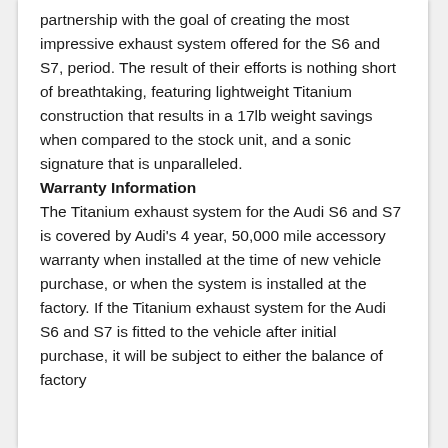partnership with the goal of creating the most impressive exhaust system offered for the S6 and S7, period. The result of their efforts is nothing short of breathtaking, featuring lightweight Titanium construction that results in a 17lb weight savings when compared to the stock unit, and a sonic signature that is unparalleled.
Warranty Information
The Titanium exhaust system for the Audi S6 and S7 is covered by Audi's 4 year, 50,000 mile accessory warranty when installed at the time of new vehicle purchase, or when the system is installed at the factory. If the Titanium exhaust system for the Audi S6 and S7 is fitted to the vehicle after initial purchase, it will be subject to either the balance of factory warranty or a 12 month and 12,000 mile...